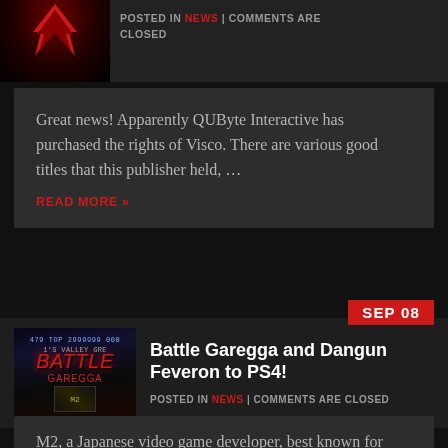[Figure (screenshot): Partial top of a blog article card with a small thumbnail (red logo on dark background) and metadata text 'POSTED IN NEWS | COMMENTS ARE CLOSED']
Great news! Apparently QUByte Interactive has purchased the rights of Visco. There are various good titles that this publisher held,…
READ MORE »
SEP 08
[Figure (screenshot): Thumbnail image of Battle Garegga video game screenshot showing game title in red stylized text on dark space background]
Battle Garegga and Dangun Feveron to PS4!
POSTED IN NEWS | COMMENTS ARE CLOSED
M2, a Japanese video game developer, best known for handling emulation of re-released games, is putting some love to the…
READ MORE »